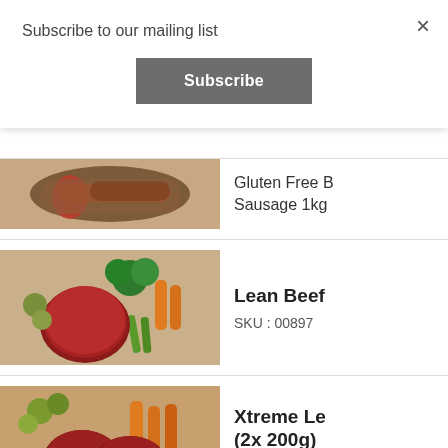Subscribe to our mailing list
×
Subscribe
Gluten Free B... Sausage 1kg
[Figure (photo): A plate with sausages and other food]
Lean Beef
SKU : 00897
[Figure (photo): Raw lean beef mince with vegetables including broccoli, carrots, green beans on a wooden board]
Xtreme Le... (2x 200g)
SKU : 00894
[Figure (photo): Two beef steaks with vegetables including carrots and green olives]
Xtreme Le...
SKU : 00896